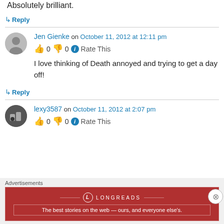Absolutely brilliant.
↳ Reply
Jen Gienke on October 11, 2012 at 12:11 pm
👍 0 👎 0 ℹ Rate This
I love thinking of Death annoyed and trying to get a day off!
↳ Reply
lexy3587 on October 11, 2012 at 2:07 pm
👍 0 👎 0 ℹ Rate This
Advertisements
[Figure (infographic): Longreads advertisement banner: red background with logo and tagline 'The best stories on the web — ours, and everyone else's.']